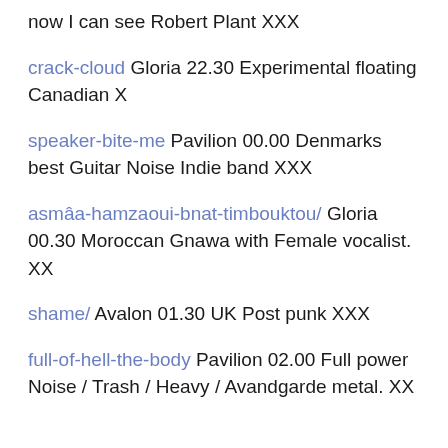now I can see Robert Plant XXX
crack-cloud Gloria 22.30 Experimental floating Canadian X
speaker-bite-me Pavilion 00.00 Denmarks best Guitar Noise Indie band XXX
asmâa-hamzaoui-bnat-timbouktou/ Gloria 00.30 Moroccan Gnawa with Female vocalist. XX
shame/ Avalon 01.30 UK Post punk XXX
full-of-hell-the-body Pavilion 02.00 Full power Noise / Trash / Heavy / Avandgarde metal. XX